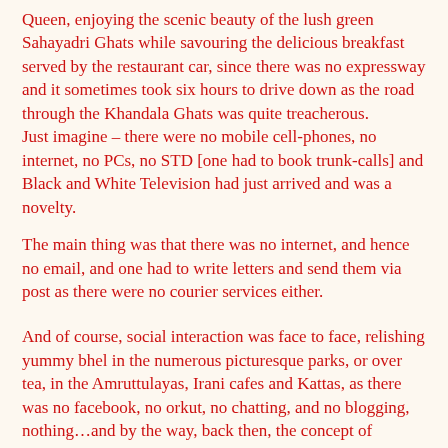Queen, enjoying the scenic beauty of the lush green Sahayadri Ghats while savouring the delicious breakfast served by the restaurant car, since there was no expressway and it sometimes took six hours to drive down as the road through the Khandala Ghats was quite treacherous.
Just imagine – there were no mobile cell-phones, no internet, no PCs, no STD [one had to book trunk-calls] and Black and White Television had just arrived and was a novelty.
The main thing was that there was no internet, and hence no email, and one had to write letters and send them via post as there were no courier services either.
And of course, social interaction was face to face, relishing yummy bhel in the numerous picturesque parks, or over tea, in the Amruttulayas, Irani cafes and Kattas, as there was no facebook, no orkut, no chatting, and no blogging, nothing…and by the way, back then, the concept of “cyberspace” did not exist…
Those days, a B. Tech. from an IIT did not get you a huge pay packet – yes, it sure ensured that you got a good job, but once you were in the job you were on par with the other guys from various